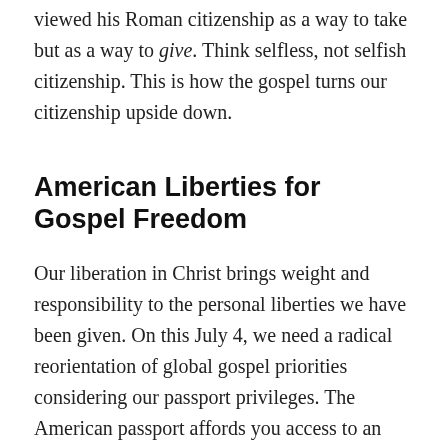viewed his Roman citizenship as a way to take but as a way to give. Think selfless, not selfish citizenship. This is how the gospel turns our citizenship upside down.
American Liberties for Gospel Freedom
Our liberation in Christ brings weight and responsibility to the personal liberties we have been given. On this July 4, we need a radical reorientation of global gospel priorities considering our passport privileges. The American passport affords you access to an incredibly high number of countries, and in God's providence,